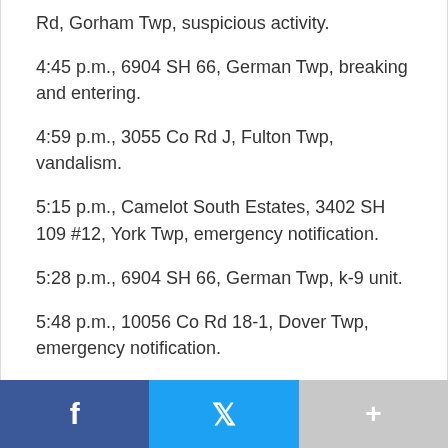Rd, Gorham Twp, suspicious activity.
4:45 p.m., 6904 SH 66, German Twp, breaking and entering.
4:59 p.m., 3055 Co Rd J, Fulton Twp, vandalism.
5:15 p.m., Camelot South Estates, 3402 SH 109 #12, York Twp, emergency notification.
5:28 p.m., 6904 SH 66, German Twp, k-9 unit.
5:48 p.m., 10056 Co Rd 18-1, Dover Twp, emergency notification.
5:56 p.m., 8910 Brookside Ln #12, Pike Twp, emergency notification.
6:52 p.m., 2035 Co Rd F, Swancreek Twp, welfare check.